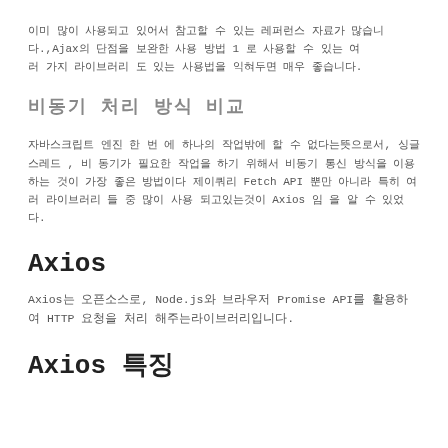이미 많이 사용되고 있어서 참고할 수 있는 레퍼런스 자료가 많습니다.,Ajax의 단점을 보완한 사용 방법 1 로 사용할 수 있는 여 러 가지 라이브러리 도 있는 사용법을 익혀두면 매우 좋습니다.
비동기 처리 방식 비교
자바스크립트 엔진 한 번 에 하나의 작업밖에 할 수 없다는뜻으로서, 싱글스레드 , 비 동기가 필요한 작업을 하기 위해서 비동기 통신 방식을 이용하는 것이 가장 좋은 방법이다 제이쿼리 Fetch API 뿐만 아니라 특히 여러 라이브러리 들 중 많이 사용 되고있는것이 Axios 임 을 알 수 있었 다.
Axios
Axios는 오픈소스로, Node.js와 브라우저 Promise API를 활용하여 HTTP 요청을 처리 해주는라이브러리입니다.
Axios 특징